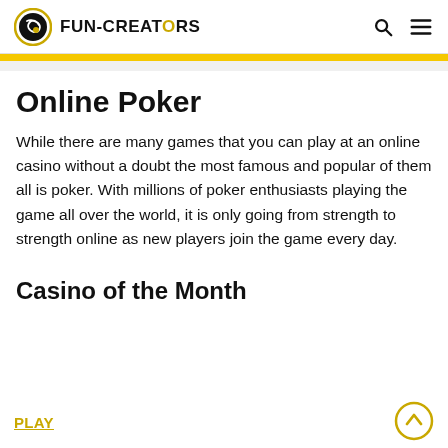FUN-CREATORS
Online Poker
While there are many games that you can play at an online casino without a doubt the most famous and popular of them all is poker. With millions of poker enthusiasts playing the game all over the world, it is only going from strength to strength online as new players join the game every day.
Casino of the Month
PLAY